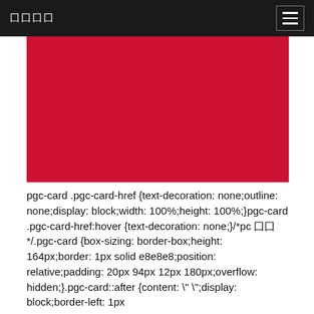囗囗囗囗
[Figure (illustration): A solid red/crimson rectangular block filling the upper content area of the page.]
pgc-card .pgc-card-href {text-decoration: none;outline: none;display: block;width: 100%;height: 100%;}pgc-card .pgc-card-href:hover {text-decoration: none;}/*pc 囗囗*/.pgc-card {box-sizing: border-box;height: 164px;border: 1px solid e8e8e8;position: relative;padding: 20px 94px 12px 180px;overflow: hidden;}.pgc-card::after {content: " ";display: block;border-left: 1px